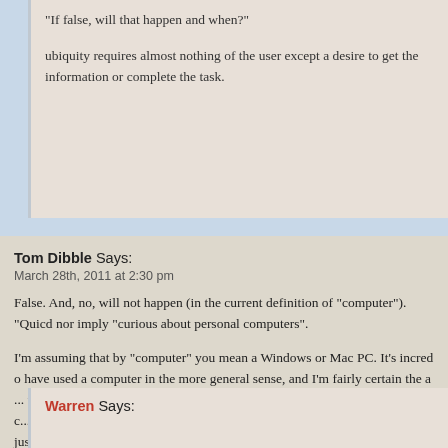"If false, will that happen and when?"
ubiquity requires almost nothing of the user except a desire to get the infor... the task.
Tom Dibble Says:
March 28th, 2011 at 2:30 pm
False. And, no, will not happen (in the current definition of "computer"). "Quic... nor imply "curious about personal computers".
I'm assuming that by "computer" you mean a Windows or Mac PC. It's incred... have used a computer in the more general sense, and I'm fairly certain the a... used computers before in her life. Even owned them. And, if you narrow the c... down to that, I think that what will happen is that the "quick learners who just... time, however quick, on learning how to talk to a computer" will still be aroun... evolve to meet their needs instead.
It's not just old people, either. There are young people who are completely in... who don't feel the need to plumb the depths of a laptop.
Warren Says: